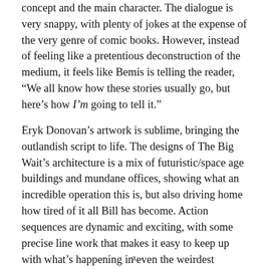concept and the main character. The dialogue is very snappy, with plenty of jokes at the expense of the very genre of comic books. However, instead of feeling like a pretentious deconstruction of the medium, it feels like Bemis is telling the reader, “We all know how these stories usually go, but here’s how I’m going to tell it.”
Eryk Donovan’s artwork is sublime, bringing the outlandish script to life. The designs of The Big Wait’s architecture is a mix of futuristic/space age buildings and mundane offices, showing what an incredible operation this is, but also driving home how tired of it all Bill has become. Action sequences are dynamic and exciting, with some precise line work that makes it easy to keep up with what’s happening in even the weirdest sequences. Ever wondered what a machine designed to rip out a colon looks like? Donovan has you covered.
x